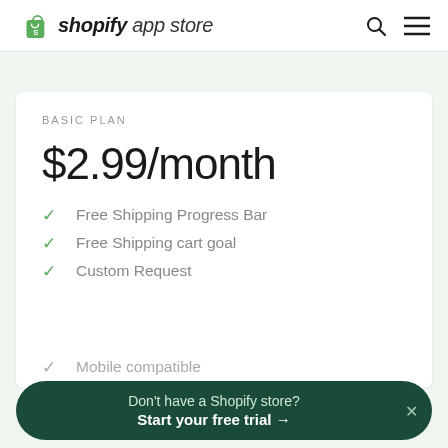shopify app store
BASIC PLAN
$2.99/month
Free Shipping Progress Bar
Free Shipping cart goal
Custom Request
Don't have a Shopify store? Start your free trial →
Mobile compatible